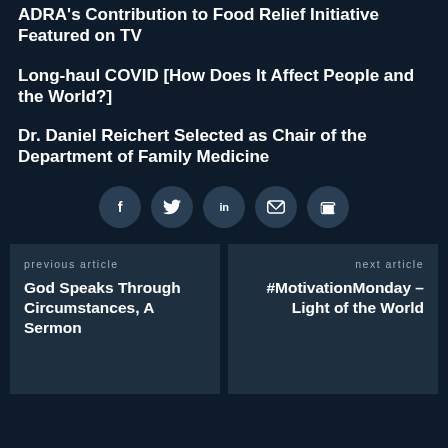ADRA's Contribution to Food Relief Initiative Featured on TV
Long-haul COVID [How Does It Affect People and the World?]
Dr. Daniel Reichert Selected as Chair of the Department of Family Medicine
[Figure (infographic): Social sharing icons: Facebook (f), Twitter (bird), LinkedIn (in), Email (envelope), Print (printer) — circular dark buttons in a row]
previous article
God Speaks Through Circumstances, A Sermon
next article
#MotivationMonday – Light of the World